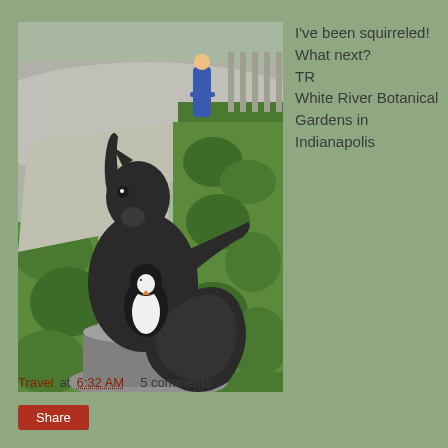[Figure (photo): A dark bronze or painted sculpture of a squirrel with arms raised, holding a small penguin figurine, set against manicured hedges and a road in the background at White River Botanical Gardens in Indianapolis.]
I've been squirreled!
What next?
TR
White River Botanical Gardens in Indianapolis
Travel at 6:32 AM    5 comments:
Share